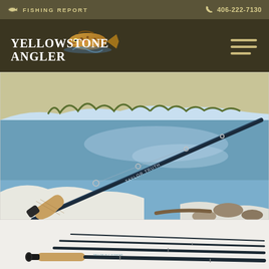🐟 FISHING REPORT   📞 406-222-7130
[Figure (logo): Yellowstone Angler logo with brown trout jumping and text]
[Figure (photo): Close-up photo of Taylor Truth fly fishing rod held above a scenic river with snowy banks]
[Figure (photo): Disassembled Taylor Truth fly fishing rod showing 4 sections with cork grip]